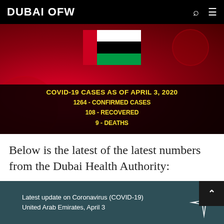DUBAI OFW
[Figure (infographic): COVID-19 cases infographic with UAE flag on red background showing: COVID-19 CASES AS OF APRIL 3, 2020 / 1264 - CONFIRMED CASES / 108 - RECOVERED / 9 - DEATHS]
Below is the latest of the latest numbers from the Dubai Health Authority:
[Figure (infographic): Teal card: Latest update on Coronavirus (COVID-19) United Arab Emirates, April 3, with a star logo]